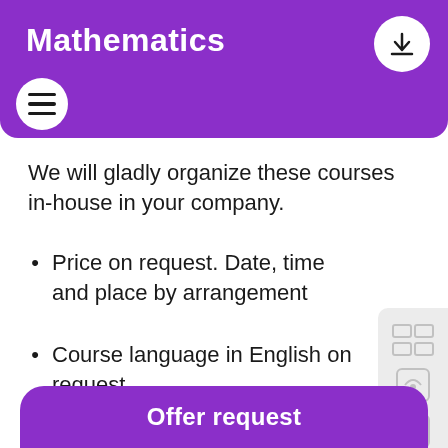Mathematics
We will gladly organize these courses in-house in your company.
Price on request. Date, time and place by arrangement
Course language in English on request
We offer group courses at our locations in Bern and Zurich.
Offer request